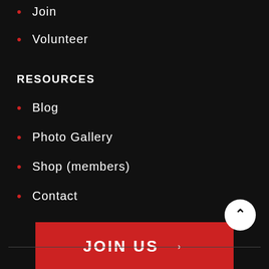Join
Volunteer
RESOURCES
Blog
Photo Gallery
Shop (members)
Contact
JOIN US →
Already a Flyer? Sign-in.